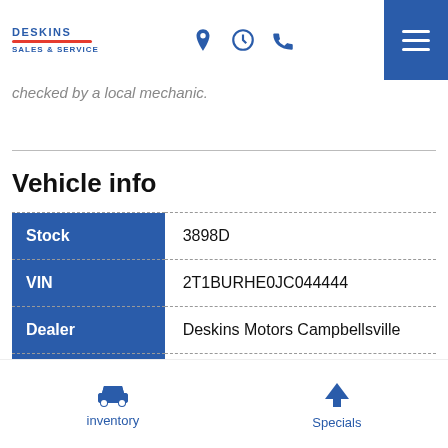Deskins Sales & Service
checked by a local mechanic.
Vehicle info
| Field | Value |
| --- | --- |
| Stock | 3898D |
| VIN | 2T1BURHE0JC044444 |
| Dealer | Deskins Motors Campbellsville |
| Type | Used |
inventory  Specials